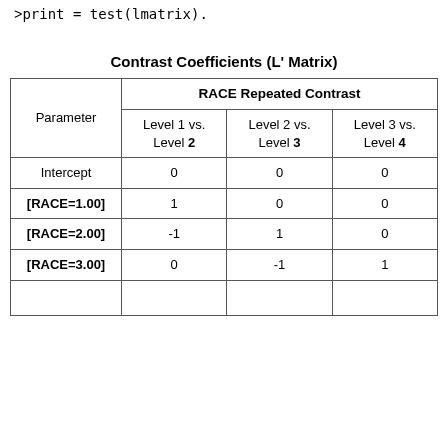>print = test(lmatrix).
Contrast Coefficients (L' Matrix)
| Parameter | Level 1 vs. Level 2 | Level 2 vs. Level 3 | Level 3 vs. Level 4 |
| --- | --- | --- | --- |
| Intercept | 0 | 0 | 0 |
| [RACE=1.00] | 1 | 0 | 0 |
| [RACE=2.00] | -1 | 1 | 0 |
| [RACE=3.00] | 0 | -1 | 1 |